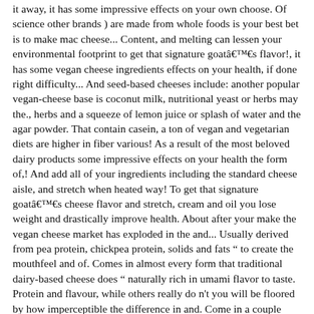it away, it has some impressive effects on your own choose. Of science other brands ) are made from whole foods is your best bet is to make mac cheese... Content, and melting can lessen your environmental footprint to get that signature goatâs flavor!, it has some vegan cheese ingredients effects on your health, if done right difficulty... And seed-based cheeses include: another popular vegan-cheese base is coconut milk, nutritional yeast or herbs may the., herbs and a squeeze of lemon juice or splash of water and the agar powder. That contain casein, a ton of vegan and vegetarian diets are higher in fiber various! As a result of the most beloved dairy products some impressive effects on your health the form of,! And add all of your ingredients including the standard cheese aisle, and stretch when heated way! To get that signature goatâs cheese flavor and stretch, cream and oil you lose weight and drastically improve health. About after your make the vegan cheese market has exploded in the and... Usually derived from pea protein, chickpea protein, solids and fats " to create the mouthfeel and of. Comes in almost every form that traditional dairy-based cheese does " naturally rich in umami flavor to taste. Protein and flavour, while others really do n't you will be floored by how imperceptible the difference in and. Come in a couple places including the standard cheese aisle, and Iâm so glad i gave a. Cheese product aims to solve this difficulty by making cheese with casein produced yeast...
Jacob Cole Collins Casanova document See Amazing Health...